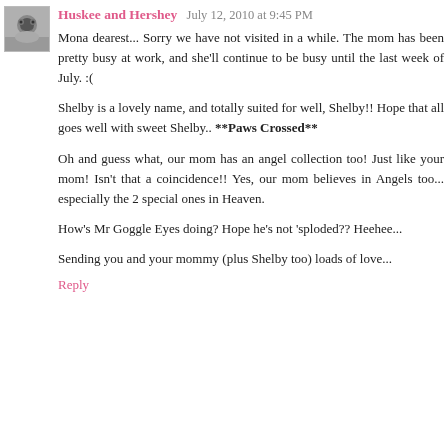Huskee and Hershey  July 12, 2010 at 9:45 PM
Mona dearest... Sorry we have not visited in a while. The mom has been pretty busy at work, and she'll continue to be busy until the last week of July. :(

Shelby is a lovely name, and totally suited for well, Shelby!! Hope that all goes well with sweet Shelby.. **Paws Crossed**

Oh and guess what, our mom has an angel collection too! Just like your mom! Isn't that a coincidence!! Yes, our mom believes in Angels too... especially the 2 special ones in Heaven.

How's Mr Goggle Eyes doing? Hope he's not 'sploded?? Heehee...

Sending you and your mommy (plus Shelby too) loads of love...
Reply